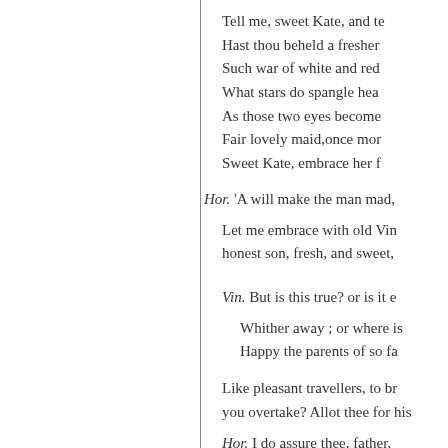Tell me, sweet Kate, and te-
Hast thou beheld a fresher
Such war of white and red
What stars do spangle hea-
As those two eyes become
Fair lovely maid,once mor
Sweet Kate, embrace her f
Hor. 'A will make the man mad,
Let me embrace with old Vin-
honest son, fresh, and sweet,
Vin. But is this true? or is it e-
Whither away ; or where is
Happy the parents of so fa-
Like pleasant travellers, to br-
you overtake? Allot thee for his
Hor. I do assure thee, father,
see the truth hereof; art not ma-